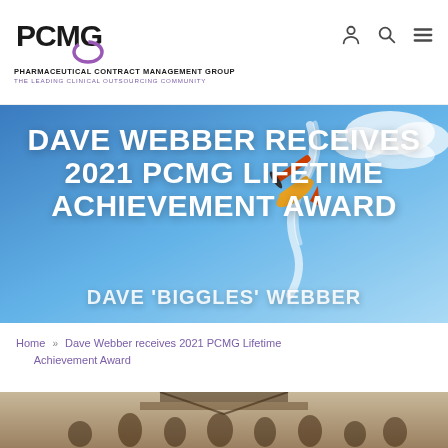[Figure (logo): PCMG logo with purple circle arc and company name]
PHARMACEUTICAL CONTRACT MANAGEMENT GROUP
THE LEADING CLINICAL OUTSOURCING COMMUNITY
[Figure (photo): Hero banner with airplane performing aerobatic maneuver with smoke trail against blue sky. Text overlay: DAVE WEBBER RECEIVES 2021 PCMG LIFETIME ACHIEVEMENT AWARD and DAVE 'BIGGLES' WEBBER]
Home » Dave Webber receives 2021 PCMG Lifetime Achievement Award
[Figure (photo): Group photo of people standing outside a building with glass canopy]